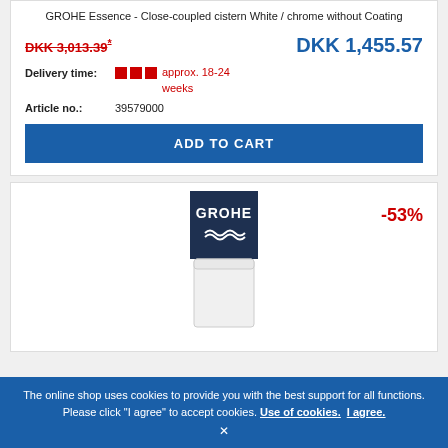GROHE Essence - Close-coupled cistern White / chrome without Coating
DKK 3,013.39* (strikethrough old price) | DKK 1,455.57 (new price)
Delivery time: approx. 18-24 weeks
Article no.: 39579000
ADD TO CART
[Figure (logo): GROHE logo on dark navy background with wave graphic, -53% discount badge]
The online shop uses cookies to provide you with the best support for all functions. Please click "I agree" to accept cookies. Use of cookies. I agree.